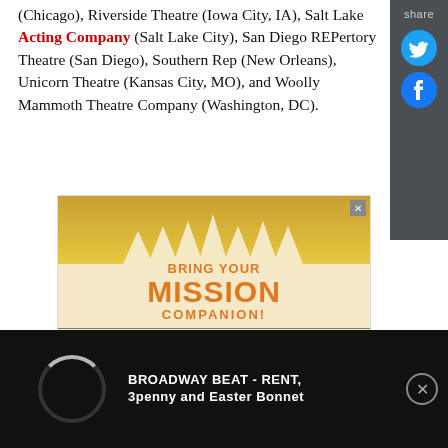(Chicago), Riverside Theatre (Iowa City, IA), Salt Lake Acting Company (Salt Lake City), San Diego REPertory Theatre (San Diego), Southern Rep (New Orleans), Unicorn Theatre (Kansas City, MO), and Woolly Mammoth Theatre Company (Washington, DC).
[Figure (screenshot): Advertisement banner for The Book of Mormon musical. Gold spiky design at top, orange text reading 'BRING YOUR MISSION COMPANION!' and 'THE BOOK OF MORMON' in black text below.]
[Figure (screenshot): Video overlay bar showing loading spinner and text 'BROADWAY BEAT - RENT, 3penny and Easter Bonnet' with close button on right.]